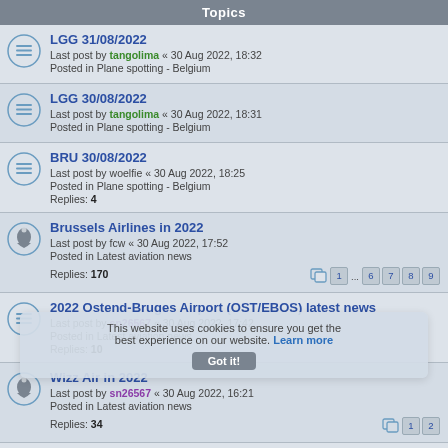Topics
LGG 31/08/2022
Last post by tangolima « 30 Aug 2022, 18:32
Posted in Plane spotting - Belgium
LGG 30/08/2022
Last post by tangolima « 30 Aug 2022, 18:31
Posted in Plane spotting - Belgium
BRU 30/08/2022
Last post by woelfie « 30 Aug 2022, 18:25
Posted in Plane spotting - Belgium
Replies: 4
Brussels Airlines in 2022
Last post by fcw « 30 Aug 2022, 17:52
Posted in Latest aviation news
Replies: 170
Pages: 1 ... 6 7 8 9
2022 Ostend-Bruges Airport (OST/EBOS) latest news
Last post by sn26567 « 30 Aug 2022, 17:42
Posted in Latest aviation news
Replies: 10
Wizz Air in 2022
Last post by sn26567 « 30 Aug 2022, 16:21
Posted in Latest aviation news
Replies: 34
Pages: 1 2
Ukraine crisis 2022 affecting civilian aviation
Last post by sn26567 « 30 Aug 2022, 16:19
Posted in Latest aviation news
Replies: 168
Pages: 1 ... 6 7 8 9
This website uses cookies to ensure you get the best experience on our website. Learn more
Got it!